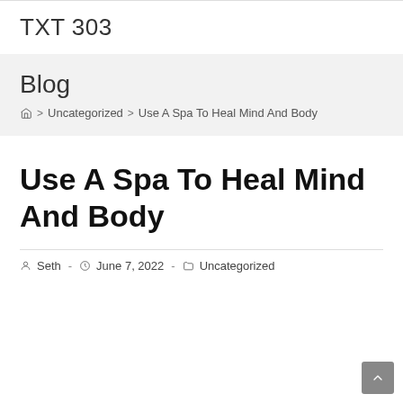TXT 303
Blog
Home > Uncategorized > Use A Spa To Heal Mind And Body
Use A Spa To Heal Mind And Body
Seth - June 7, 2022 - Uncategorized